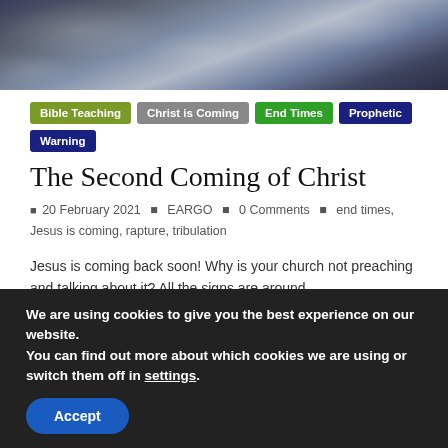[Figure (photo): Dark dramatic storm clouds sky, blue-grey tones, hero banner image]
Bible Teaching
Christ is Coming
End Times
Prophetic Warning
The Second Coming of Christ
20 February 2021  EARGO  0 Comments  end times, Jesus is coming, rapture, tribulation
Jesus is coming back soon! Why is your church not preaching and talking about it? All the signs are around
Read more
We are using cookies to give you the best experience on our website.
You can find out more about which cookies we are using or switch them off in settings.
Accept